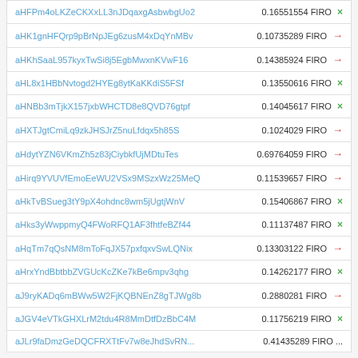| Address | Amount |
| --- | --- |
| aHFPm4oLKZeCKXxLL3nJDqaxgAsbwbgUo2 | 0.16551554 FIRO × |
| aHK1gnHFQrp9pBrNpJEg6zusM4xDqYnMBv | 0.10735289 FIRO → |
| aHKhSaaL957kyxTwSi8j5EgbMwxnKVwF16 | 0.14385924 FIRO → |
| aHL8x1HBbNvtogd2HYEg8ytKaKKdiS5FSf | 0.13550616 FIRO × |
| aHNBb3mTjkX157jxbWHCTD8e8QVD76gtpf | 0.14045617 FIRO × |
| aHXTJgtCmiLq9zkJHSJrZ5nuLfdqx5h85S | 0.1024029 FIRO → |
| aHdytYZN6VKmZh5z83jCiybkfUjMDtuTes | 0.69764059 FIRO → |
| aHirq9YVUVfEmoEeWU2VSx9MSzxWz25MeQ | 0.11539657 FIRO → |
| aHkTvBSueg3tY9pX4ohdnc8wm5jUgtjWnV | 0.15406867 FIRO × |
| aHks3yWwppmyQ4FWoRFQ1AF3fhtfeBZf44 | 0.11137487 FIRO × |
| aHqTm7qQsNM8mToFqJX57pxfqxvSwLQNix | 0.13303122 FIRO → |
| aHrxYndBbtbbZVGUcKcZKe7kBe6mpv3qhg | 0.14262177 FIRO × |
| aJ9ryKADq6mBWw5W2FjKQBNEnZ8gTJWg8b | 0.2880281 FIRO → |
| aJGV4eVTkGHXLrM2tdu4R8MmDtfDzBbC4M | 0.11756219 FIRO × |
| aJLr9faDmzGeDQCFRXTtFv7w8eJhdSvRN... | 0.41435289 FIRO ... |